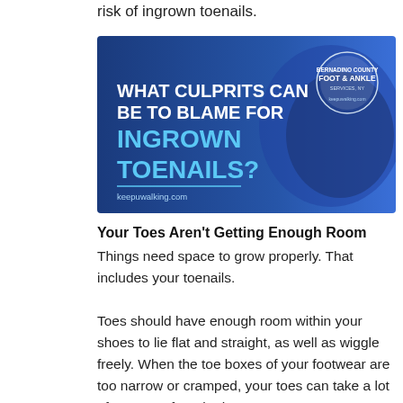risk of ingrown toenails.
[Figure (infographic): Blue banner infographic with text 'WHAT CULPRITS CAN BE TO BLAME FOR INGROWN TOENAILS?' with a Bernadino County Foot & Ankle Services logo on the right and keepuwalking.com in the lower left. Background shows a close-up of a toe.]
Your Toes Aren't Getting Enough Room
Things need space to grow properly. That includes your toenails.

Toes should have enough room within your shoes to lie flat and straight, as well as wiggle freely. When the toe boxes of your footwear are too narrow or cramped, your toes can take a lot of pressure from both